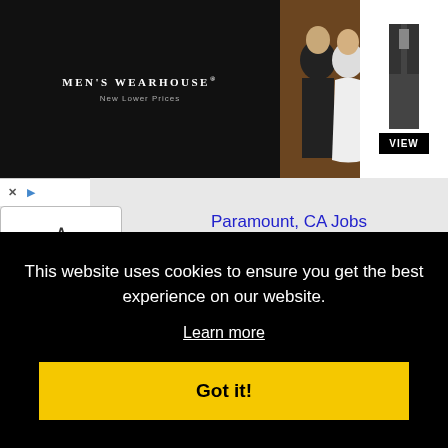[Figure (photo): Men's Wearhouse advertisement banner showing couple in formal wear, man in suit, with VIEW button and suit thumbnail on right]
Paramount, CA Jobs
Pasadena, CA Jobs
Pico Rivera, CA Jobs
Placentia, CA Jobs
Pomona, CA Jobs
Rancho Cucamonga, CA Jobs
This website uses cookies to ensure you get the best experience on our website. Learn more Got it!
Santa Ana, CA Jobs